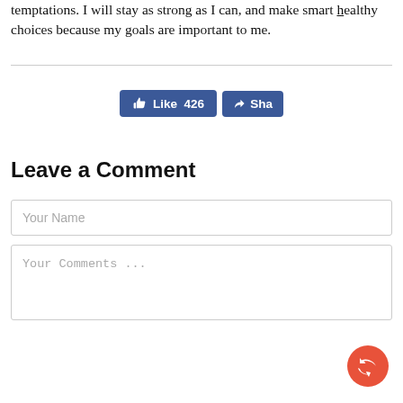temptations. I will stay as strong as I can, and make smart healthy choices because my goals are important to me.
[Figure (screenshot): Facebook Like button showing 426 likes and a Share button]
Leave a Comment
Your Name (input field placeholder)
Your Comments ... (textarea placeholder)
[Figure (illustration): Orange circular share/reply FAB button in bottom right corner]